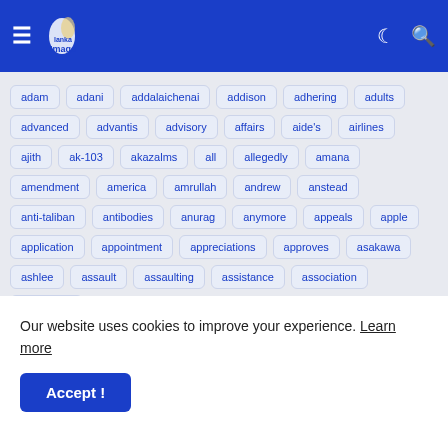[Figure (screenshot): Website navigation bar with hamburger menu, Lanka Image logo, moon icon, and search icon on blue background]
adam
adani
addalaichenai
addison
adhering
adults
advanced
advantis
advisory
affairs
aide's
airlines
ajith
ak-103
akazalms
all
allegedly
amana
amendment
america
amrullah
andrew
anstead
anti-taliban
antibodies
anurag
anymore
appeals
apple
application
appointment
appreciations
approves
asakawa
ashlee
assault
assaulting
assistance
association
assurance
Our website uses cookies to improve your experience. Learn more
Accept !